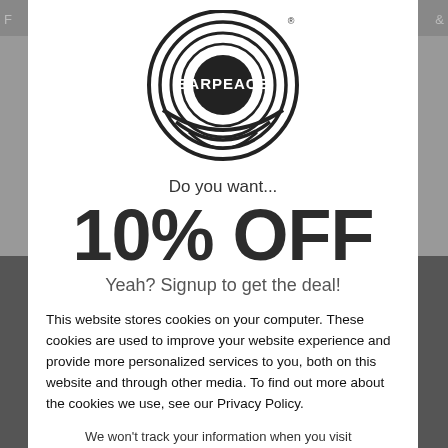[Figure (logo): EarPeace circular logo with concentric rings and the word EARPEACE in the center]
Do you want...
10% OFF
Yeah? Signup to get the deal!
This website stores cookies on your computer. These cookies are used to improve your website experience and provide more personalized services to you, both on this website and through other media. To find out more about the cookies we use, see our Privacy Policy.
We won't track your information when you visit our site. But in order to comply with your preferences, we'll have to use just one tiny cookie so that you're not asked to make this choice again.